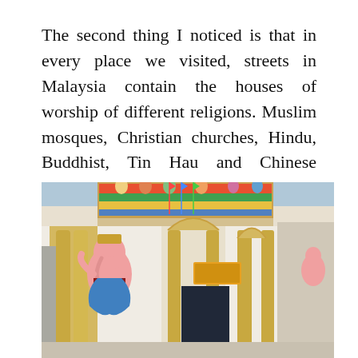The second thing I noticed is that in every place we visited, streets in Malaysia contain the houses of worship of different religions. Muslim mosques, Christian churches, Hindu, Buddhist, Tin Hau and Chinese temples, one next to the other line a street. Everywhere.
[Figure (photo): Photograph of a colorful Hindu temple facade with a large Ganesha statue (pink elephant-headed deity) on the left, ornate golden columns, and elaborate sculptural decorations across the top of the temple.]